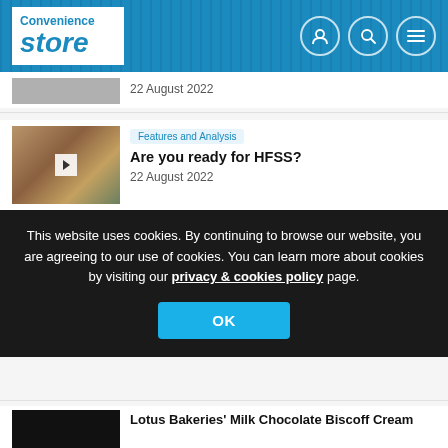Convenience Store
22 August 2022
[Figure (photo): Store aisle with products on shelves]
Features and Analysis
Are you ready for HFSS?
22 August 2022
This website uses cookies. By continuing to browse our website, you are agreeing to our use of cookies. You can learn more about cookies by visiting our privacy & cookies policy page.
OK
[Figure (photo): Lotus Bakeries product photo]
Lotus Bakeries' Milk Chocolate Biscoff Cream